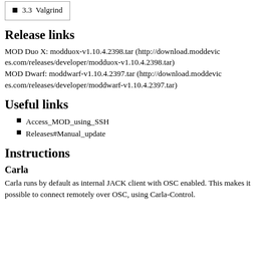| 3.3  Valgrind |
Release links
MOD Duo X: modduox-v1.10.4.2398.tar (http://download.moddevices.com/releases/developer/modduox-v1.10.4.2398.tar)
MOD Dwarf: moddwarf-v1.10.4.2397.tar (http://download.moddevices.com/releases/developer/moddwarf-v1.10.4.2397.tar)
Useful links
Access_MOD_using_SSH
Releases#Manual_update
Instructions
Carla
Carla runs by default as internal JACK client with OSC enabled. This makes it possible to connect remotely over OSC, using Carla-Control.